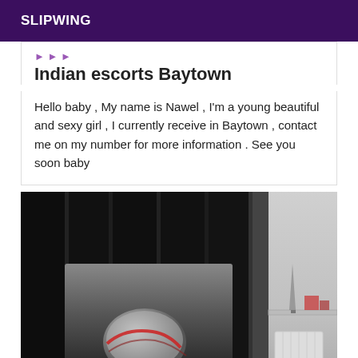SLIPWING
Indian escorts Baytown
Hello baby , My name is Nawel , I'm a young beautiful and sexy girl , I currently receive in Baytown , contact me on my number for more information . See you soon baby
[Figure (photo): A photo inside a dark room with black curtain background and a white wall on the right side with a shelf. A person is visible at the bottom with a silver/metallic helmet.]